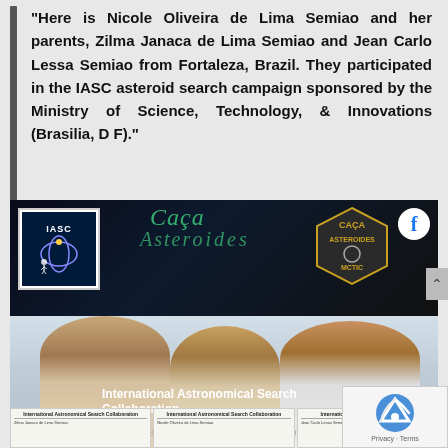"Here is Nicole Oliveira de Lima Semiao and her parents, Zilma Janaca de Lima Semiao and Jean Carlo Lessa Semiao from Fortaleza, Brazil. They participated in the IASC asteroid search campaign sponsored by the Ministry of Science, Technology, & Innovations (Brasilia, D F)."
[Figure (screenshot): Facebook post from International Astronomical Search Collaboration (IASC) showing a family of three (mother, daughter, and father) holding IASC certificates. The post header shows the IASC logo, organization name, website ciencigemcasa.mctic.gov.br, posted about 2 years ago, and a Caça Asteroides MCTIC badge. The photo shows three people smiling and holding certificates from the International Astronomical Search Collaboration.]